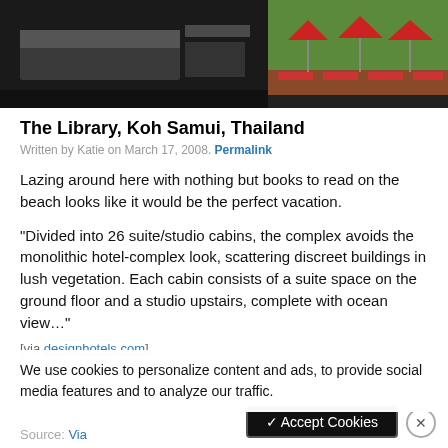[Figure (photo): Two hotel photos side by side: left shows a dark interior room with bed, right shows outdoor red umbrella lounge area]
The Library, Koh Samui, Thailand
Written by Katie on March 17, 2008. Permalink
Lazing around here with nothing but books to read on the beach looks like it would be the perfect vacation.
“Divided into 26 suite/studio cabins, the complex avoids the monolithic hotel-complex look, scattering discreet buildings in lush vegetation. Each cabin consists of a suite space on the ground floor and a studio upstairs, complete with ocean view…”
[via designhotels.com]
Rooms starting at 15,800.00 THB (= $342.019)
We use cookies to personalize content and ads, to provide social media features and to analyze our traffic.
Source: Via
✓ Accept Cookies